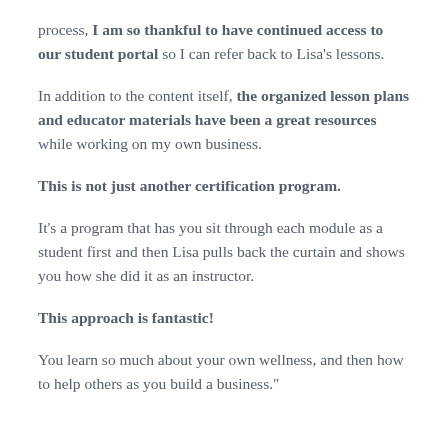process, I am so thankful to have continued access to our student portal so I can refer back to Lisa's lessons.
In addition to the content itself, the organized lesson plans and educator materials have been a great resources while working on my own business.
This is not just another certification program.
It's a program that has you sit through each module as a student first and then Lisa pulls back the curtain and shows you how she did it as an instructor.
This approach is fantastic!
You learn so much about your own wellness, and then how to help others as you build a business."